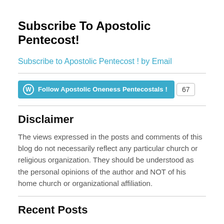Subscribe To Apostolic Pentecost!
Subscribe to Apostolic Pentecost ! by Email
[Figure (other): WordPress Follow button for 'Apostolic Oneness Pentecostals !' with follower count of 67]
Disclaimer
The views expressed in the posts and comments of this blog do not necessarily reflect any particular church or religious organization. They should be understood as the personal opinions of the author and NOT of his home church or organizational affiliation.
Recent Posts
Souls Harbor First Pentecostal Church Play “This Is That” Friday 10/20/2017 @ 7:30PM and Sunday 10/22/2017 @ 7:30PM